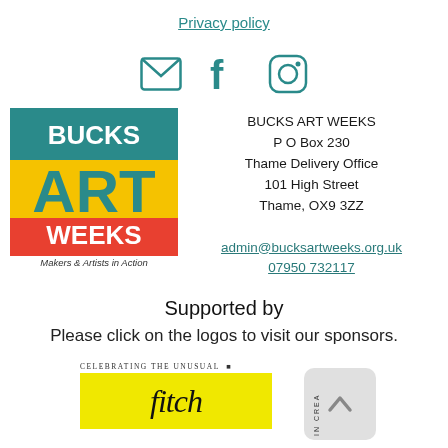Privacy policy
[Figure (illustration): Three social media icons: email envelope, Facebook f, and Instagram camera, in teal color]
[Figure (logo): Bucks Art Weeks logo with yellow, teal and red blocks. Text: BUCKS ART WEEKS, Makers & Artists in Action]
BUCKS ART WEEKS
P O Box 230
Thame Delivery Office
101 High Street
Thame, OX9 3ZZ
admin@bucksartweeks.org.uk
07950 732117
Supported by
Please click on the logos to visit our sponsors.
[Figure (logo): Fitch logo on yellow background with text 'Celebrating the unusual' above and 'In Crea...' vertically on right side]